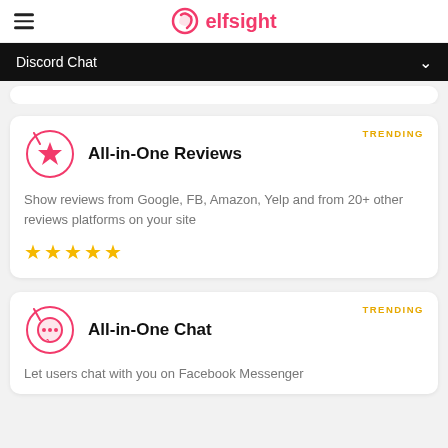elfsight
Discord Chat
TRENDING
All-in-One Reviews
Show reviews from Google, FB, Amazon, Yelp and from 20+ other reviews platforms on your site
[Figure (other): 5 gold stars rating]
TRENDING
All-in-One Chat
Let users chat with you on Facebook Messenger